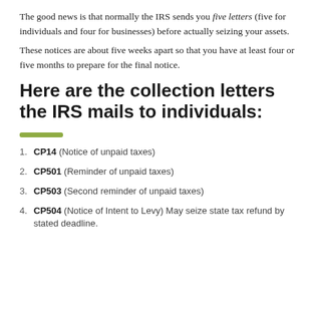The good news is that normally the IRS sends you five letters (five for individuals and four for businesses) before actually seizing your assets.
These notices are about five weeks apart so that you have at least four or five months to prepare for the final notice.
Here are the collection letters the IRS mails to individuals:
CP14 (Notice of unpaid taxes)
CP501 (Reminder of unpaid taxes)
CP503 (Second reminder of unpaid taxes)
CP504 (Notice of Intent to Levy) May seize state tax refund by stated deadline.